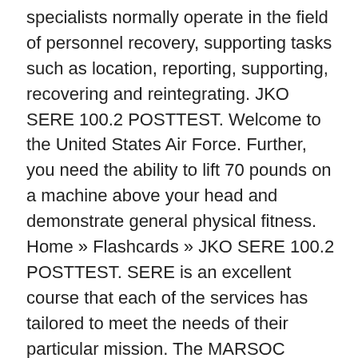specialists normally operate in the field of personnel recovery, supporting tasks such as location, reporting, supporting, recovering and reintegrating. JKO SERE 100.2 POSTTEST. Welcome to the United States Air Force. Further, you need the ability to lift 70 pounds on a machine above your head and demonstrate general physical fitness. Home » Flashcards » JKO SERE 100.2 POSTTEST. SERE is an excellent course that each of the services has tailored to meet the needs of their particular mission. The MARSOC Personnel Recovery (PR)/ SERE Branch has the responsibility to provide Full Spectrum Level C SERE training to MARSOC personnel encompassing Tactics, Techniques and Procedures (TTP) to plan for evasion, effect personnel recovery, survive and evade capture in austere environments and resist